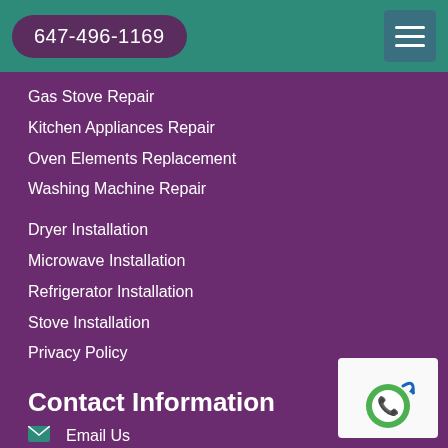647-496-1169
Gas Stove Repair
Kitchen Appliances Repair
Oven Elements Replacement
Washing Machine Repair
Dryer Installation
Microwave Installation
Refrigerator Installation
Stove Installation
Privacy Policy
Contact Information
Email Us
647-496-1169